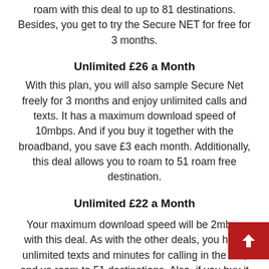roam with this deal to up to 81 destinations. Besides, you get to try the Secure NET for free for 3 months.
Unlimited £26 a Month
With this plan, you will also sample Secure Net freely for 3 months and enjoy unlimited calls and texts. It has a maximum download speed of 10mbps. And if you buy it together with the broadband, you save £3 each month. Additionally, this deal allows you to roam to 51 roam free destination.
Unlimited £22 a Month
Your maximum download speed will be 2mbps with this deal. As with the other deals, you have unlimited texts and minutes for calling in the UK, and you roam to 51 destinations. Also, if you buy it with broadband, you get to save £3 monthly.